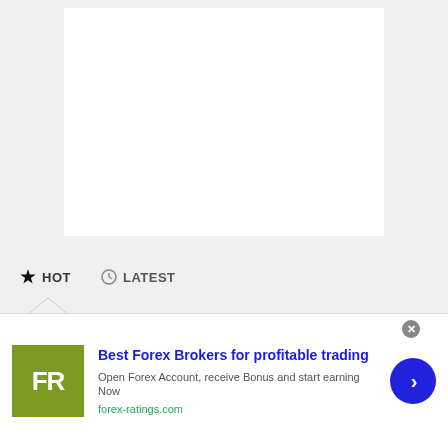[Figure (other): White content box on light gray background — main article content area (blank/loading)]
HOT   LATEST
[Figure (photo): Partially visible photograph showing a dark silhouetted figure or object against lighter panels on left and right]
[Figure (other): Advertisement banner: FR logo, Best Forex Brokers for profitable trading, Open Forex Account receive Bonus and start earning Now, forex-ratings.com, blue CTA arrow button]